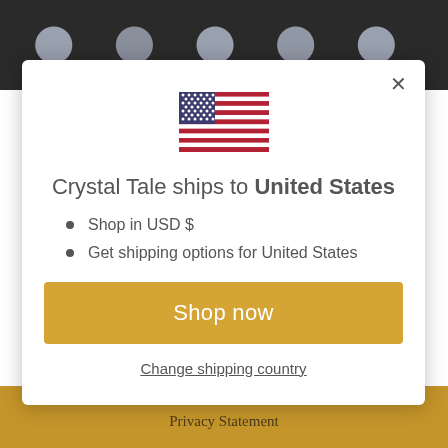[Figure (photo): Background showing moonstone/crystal beads on dark background]
[Figure (illustration): US flag icon]
Crystal Tale ships to United States
Shop in USD $
Get shipping options for United States
Shop now
Change shipping country
Privacy Statement